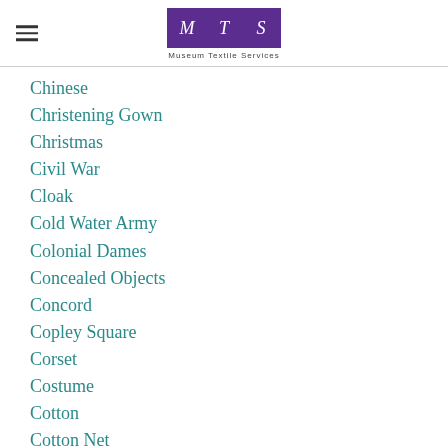Museum Textile Services
Chinese
Christening Gown
Christmas
Civil War
Cloak
Cold Water Army
Colonial Dames
Concealed Objects
Concord
Copley Square
Corset
Costume
Cotton
Cotton Net
Coverlet
Crewel
Crochet